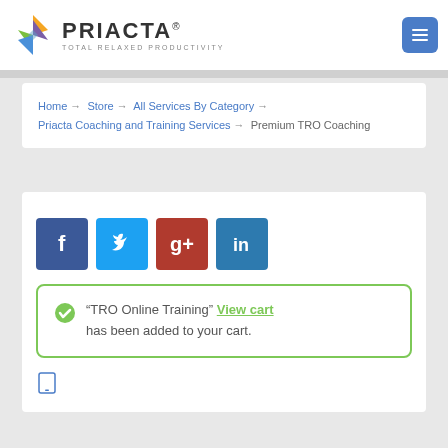[Figure (logo): Priacta logo with colorful diamond shape and text 'PRIACTA TOTAL RELAXED PRODUCTIVITY']
[Figure (other): Blue hamburger menu button]
Home → Store → All Services By Category → Priacta Coaching and Training Services → Premium TRO Coaching
[Figure (other): Social sharing icons: Facebook, Twitter, Google+, LinkedIn]
"TRO Online Training" View cart has been added to your cart.
[Figure (other): Tablet/mobile device icon]